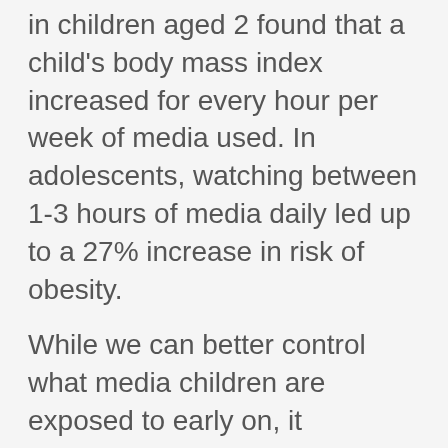in children aged 2 found that a child's body mass index increased for every hour per week of media used. In adolescents, watching between 1-3 hours of media daily led up to a 27% increase in risk of obesity.
While we can better control what media children are exposed to early on, it becomes harder as they grow older. Not only TV but apps such as Twitter, Snapchat, Instagram and Facebook, etc. create different exposures and challenges for teens.  Presently, over three-quarters of teens report having their own cell phone and 76% of teens have at least 1 social media site. Four out of five households own a